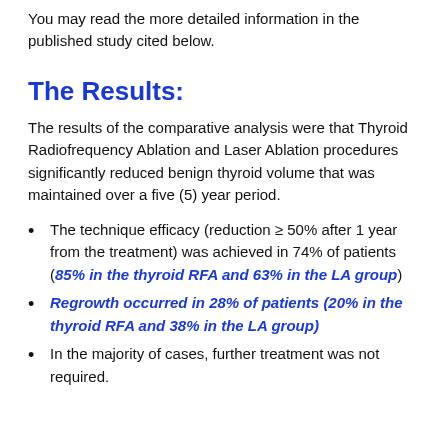You may read the more detailed information in the published study cited below.
The Results:
The results of the comparative analysis were that Thyroid Radiofrequency Ablation and Laser Ablation procedures significantly reduced benign thyroid volume that was maintained over a five (5) year period.
The technique efficacy (reduction ≥ 50% after 1 year from the treatment) was achieved in 74% of patients (85% in the thyroid RFA and 63% in the LA group)
Regrowth occurred in 28% of patients (20% in the thyroid RFA and 38% in the LA group)
In the majority of cases, further treatment was not required.